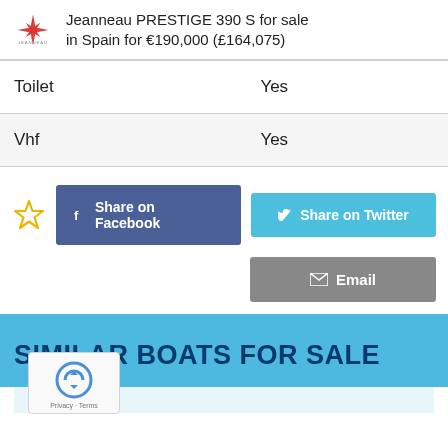Jeanneau PRESTIGE 390 S for sale in Spain for €190,000 (£164,075)
| Toilet | Yes |
| Vhf | Yes |
Share on Facebook | Share on Twitter | Email
SIMILAR BOATS FOR SALE